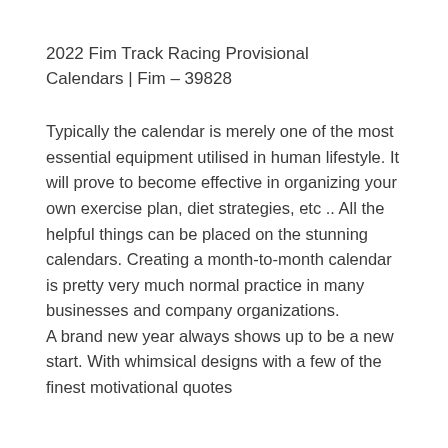2022 Fim Track Racing Provisional Calendars | Fim – 39828
Typically the calendar is merely one of the most essential equipment utilised in human lifestyle. It will prove to become effective in organizing your own exercise plan, diet strategies, etc .. All the helpful things can be placed on the stunning calendars. Creating a month-to-month calendar is pretty very much normal practice in many businesses and company organizations. A brand new year always shows up to be a new start. With whimsical designs with a few of the finest motivational quotes